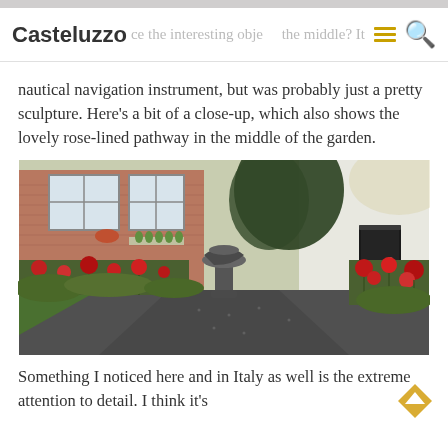Casteluzzo
nautical navigation instrument, but was probably just a pretty sculpture. Here’s a bit of a close-up, which also shows the lovely rose-lined pathway in the middle of the garden.
[Figure (photo): Close-up view of a garden with rose-lined pathway, a decorative sculpture or sundial in the center, brick building with windows in the background, and a black door on the right side.]
Something I noticed here and in Italy as well is the extreme attention to detail. I think it’s